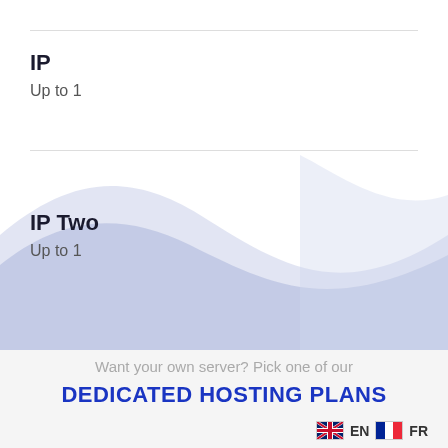IP
Up to 1
IP Two
Up to 1
Want your own server? Pick one of our
DEDICATED HOSTING PLANS
EN  FR